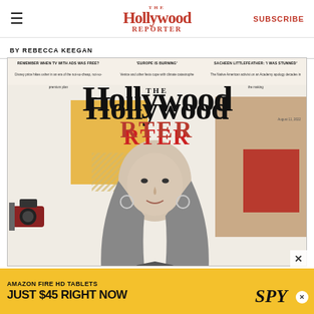The Hollywood Reporter — SUBSCRIBE
BY REBECCA KEEGAN
[Figure (photo): Magazine cover of The Hollywood Reporter, August 11, 2022. Features a woman with long blonde hair posing on a collage-style cover with the publication's masthead, section teasers at top, and decorative geometric shapes in yellow, tan, and red.]
[Figure (photo): Advertisement banner for Amazon Fire HD Tablets via SPY. Yellow background. Text: AMAZON FIRE HD TABLETS JUST $45 RIGHT NOW with SPY logo.]